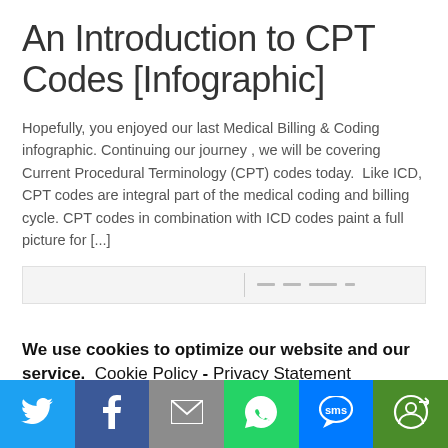An Introduction to CPT Codes [Infographic]
Hopefully, you enjoyed our last Medical Billing & Coding infographic. Continuing our journey , we will be covering Current Procedural Terminology (CPT) codes today. Like ICD, CPT codes are integral part of the medical coding and billing cycle. CPT codes in combination with ICD codes paint a full picture for [...]
[Figure (screenshot): Search bar area with divider and dashes]
We use cookies to optimize our website and our service.  Cookie Policy - Privacy Statement
Accept
[Figure (infographic): Social share bar with Twitter, Facebook, Email, WhatsApp, SMS, and More icons]